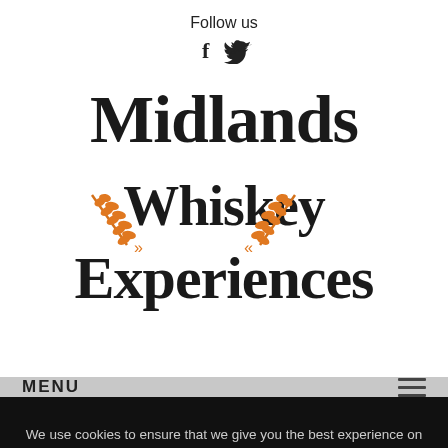Follow us
[Figure (other): Social media icons: Facebook (f) and Twitter (bird)]
[Figure (logo): Midlands Whiskey Experiences logo with decorative wheat stalks and serif typography]
MENU
We use cookies to ensure that we give you the best experience on our website. If you continue to use this site, we will assume that you are happy with it.
BLOG
Ok  No
HOME / BLOG